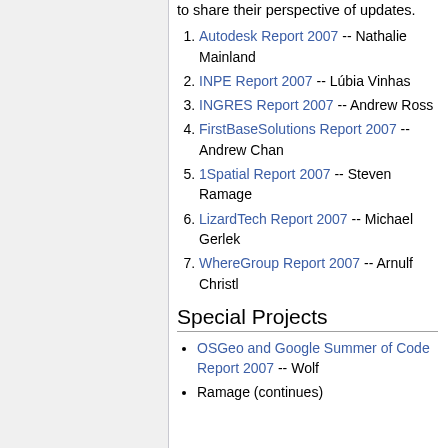to share their perspective of updates.
Autodesk Report 2007 -- Nathalie Mainland
INPE Report 2007 -- Lúbia Vinhas
INGRES Report 2007 -- Andrew Ross
FirstBaseSolutions Report 2007 -- Andrew Chan
1Spatial Report 2007 -- Steven Ramage
LizardTech Report 2007 -- Michael Gerlek
WhereGroup Report 2007 -- Arnulf Christl
Special Projects
OSGeo and Google Summer of Code Report 2007 -- Wolf
Ramage (continues)